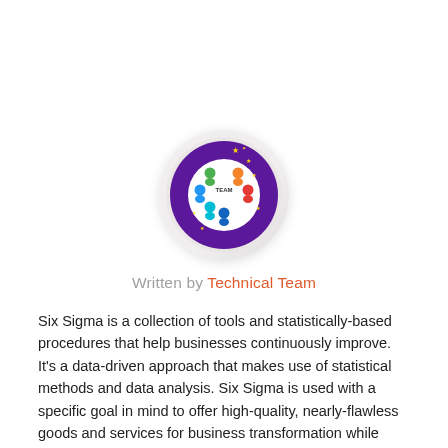[Figure (logo): Circular team logo with purple background, colorful team/people icons arranged in a circle, stars/sparkles around the edge, and 'TEAM' text in center]
Written by Technical Team
Six Sigma is a collection of tools and statistically-based procedures that help businesses continuously improve. It’s a data-driven approach that makes use of statistical methods and data analysis. Six Sigma is used with a specific goal in mind to offer high-quality, nearly-flawless goods and services for business transformation while assuring maximum customer satisfaction.